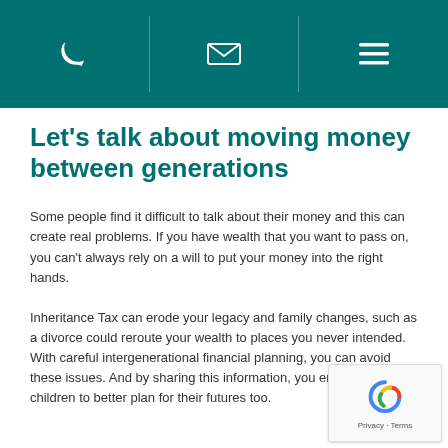[navigation icons: phone, email, menu]
Let's talk about moving money between generations
Some people find it difficult to talk about their money and this can create real problems. If you have wealth that you want to pass on, you can't always rely on a will to put your money into the right hands.
Inheritance Tax can erode your legacy and family changes, such as a divorce could reroute your wealth to places you never intended. With careful intergenerational financial planning, you can avoid these issues. And by sharing this information, you enable your children to better plan for their futures too.